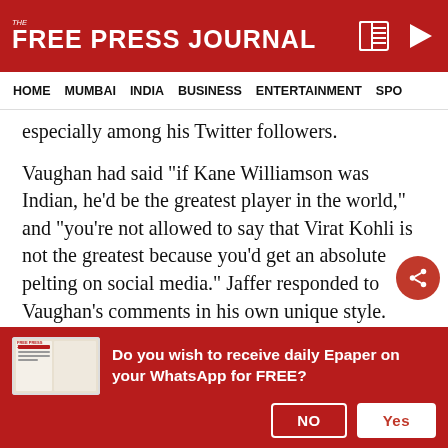THE FREE PRESS JOURNAL
HOME  MUMBAI  INDIA  BUSINESS  ENTERTAINMENT  SPO
especially among his Twitter followers.
Vaughan had said "if Kane Williamson was Indian, he'd be the greatest player in the world," and "you're not allowed to say that Virat Kohli is not the greatest because you'd get an absolute pelting on social media." Jaffer responded to Vaughan's comments in his own unique style.
Let us know! 🗳
Do you wish to receive daily Epaper on your WhatsApp for FREE?